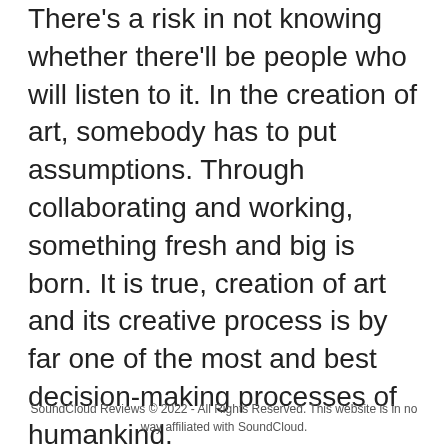There's a risk in not knowing whether there'll be people who will listen to it. In the creation of art, somebody has to put assumptions. Through collaborating and working, something fresh and big is born. It is true, creation of art and its creative process is by far one of the most and best decision-making processes of humankind.
Date: February 3, 2021 / Categories: SoundCloud Plays, / Author: Disturbinsilence
Previous   Next
SoundCloud Reviews © 2022 - All Rights Reserved. This website is in no way affiliated with SoundCloud.